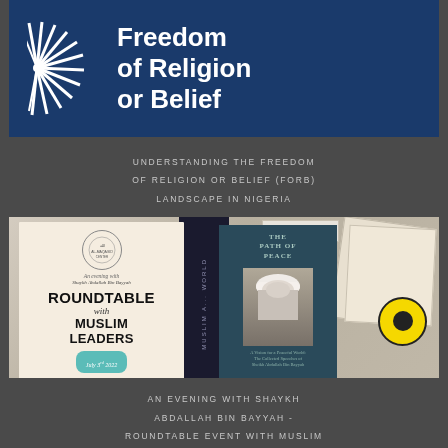[Figure (logo): Freedom of Religion or Belief logo on dark blue background with sunburst/starburst graphic on the left and white bold text reading 'Freedom of Religion or Belief' on the right]
UNDERSTANDING THE FREEDOM OF RELIGION OR BELIEF (FORB) LANDSCAPE IN NIGERIA
[Figure (photo): Photo showing printed materials including a roundtable event brochure for 'An Evening with Shaykh Abdullah Bin Bayyah – Roundtable with Muslim Leaders, July 3rd 2022', a dark book titled 'The Path of Peace' with an image of a man in a white turban, and other documents in the background]
AN EVENING WITH SHAYKH ABDALLAH BIN BAYYAH - ROUNDTABLE EVENT WITH MUSLIM